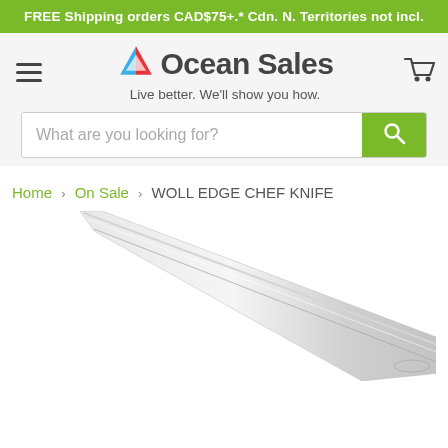FREE Shipping orders CAD$75+.* Cdn. N. Territories not incl.
[Figure (logo): Ocean Sales logo with colorful triangle icon and tagline: Live better. We'll show you how.]
What are you looking for?
Home > On Sale > WOLL EDGE CHEF KNIFE
[Figure (photo): Close-up photo of a Woll Edge Chef Knife blade, silver/stainless steel, angled diagonally across the lower portion of the page]